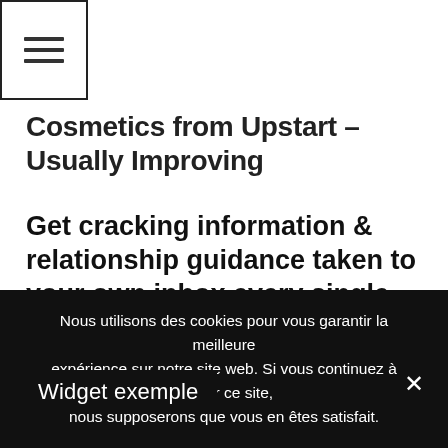[Figure (other): Hamburger menu icon button with three horizontal lines inside a bordered square]
Cosmetics from Upstart – Usually Improving
Get cracking information & relationship guidance taken to your own inbox every single day! →
Widget exemple
Ceci est un widget d'exemple pour montrer à quoi la barre droite ressemble par défaut. vous pouvez ajouter des widgets
Nous utilisons des cookies pour vous garantir la meilleure expérience sur notre site web. Si vous continuez à utiliser ce site, nous supposerons que vous en êtes satisfait.